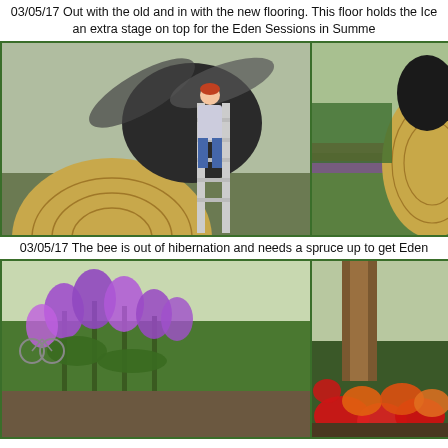03/05/17 Out with the old and in with the new flooring. This floor holds the Ice an extra stage on top for the Eden Sessions in Summe
[Figure (photo): Person on ladder working on large wooden bee sculpture with shingle-style panels, outdoors]
[Figure (photo): Wooden bee sculpture with shingle panels in garden with colorful flowers, Eden Project]
03/05/17 The bee is out of hibernation and needs a spruce up to get Eden
[Figure (photo): Purple flowers (stock/matthiola) in foreground in greenhouse garden at Eden Project]
[Figure (photo): Red and orange flowers (poppies/nasturtiums) in foreground near tree trunk inside biome]